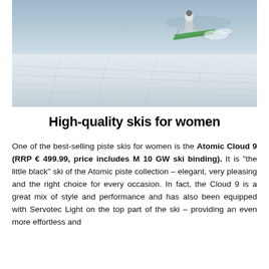[Figure (photo): Aerial or wide-angle photo of a skier on a snowy mountain piste, taken from above, showing the skier in motion against a bright white snow-covered slope with faint trail markings.]
High-quality skis for women
One of the best-selling piste skis for women is the Atomic Cloud 9 (RRP € 499.99, price includes M 10 GW ski binding). It is "the little black" ski of the Atomic piste collection – elegant, very pleasing and the right choice for every occasion. In fact, the Cloud 9 is a great mix of style and performance and has also been equipped with Servotec Light on the top part of the ski – providing an even more effortless and